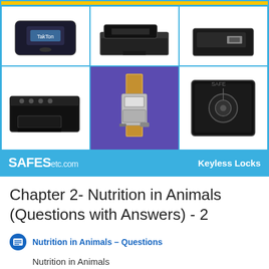[Figure (illustration): Advertisement banner for SAFESetc.com showing a grid of 6 product images of safes and keyless locks with blue border and yellow top bar. Footer shows 'SAFESetc.com' and 'Keyless Locks' on blue background.]
Chapter 2- Nutrition in Animals (Questions with Answers) - 2
Nutrition in Animals – Questions
Nutrition in Animals
Question 19: